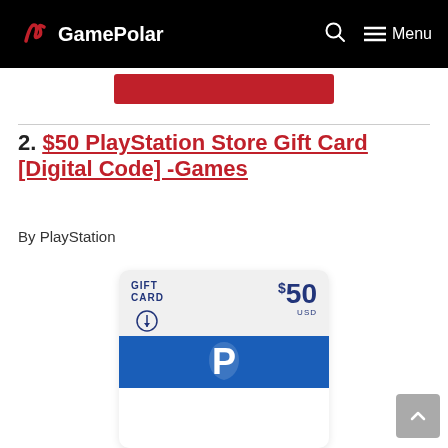GamePolar  🔍  ☰ Menu
[Figure (other): Red button/banner partially visible]
2. $50 PlayStation Store Gift Card [Digital Code] -Games
By PlayStation
[Figure (other): PlayStation Store $50 USD Gift Card image showing GIFT CARD label, $50 USD amount, PlayStation logo symbol, and blue PlayStation branding section at bottom]